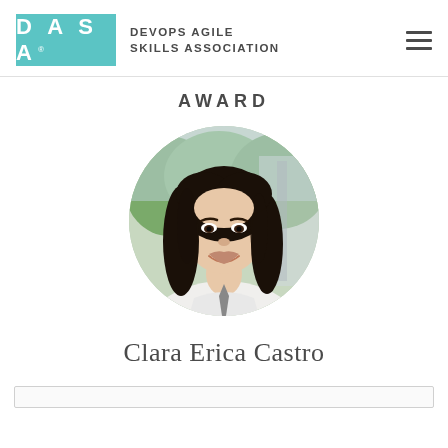[Figure (logo): DASA (DevOps Agile Skills Association) logo with teal background and white text, followed by organization name and hamburger menu icon]
AWARD
[Figure (photo): Circular profile photo of Clara Erica Castro, a woman with long dark hair, smiling, outdoors with green trees in background]
Clara Erica Castro